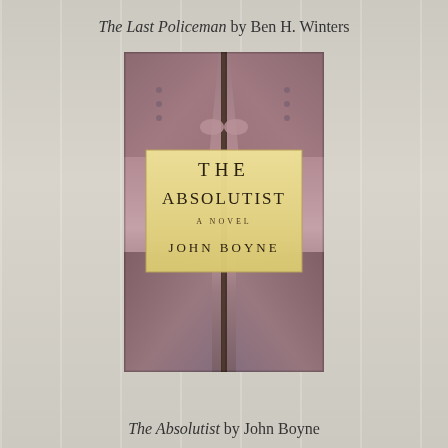The Last Policeman by Ben H. Winters
[Figure (illustration): Book cover of 'The Absolutist' by John Boyne showing two WWI soldiers in sepia tones with a gold/cream title box in the center reading 'THE ABSOLUTIST / A NOVEL / JOHN BOYNE']
The Absolutist by John Boyne